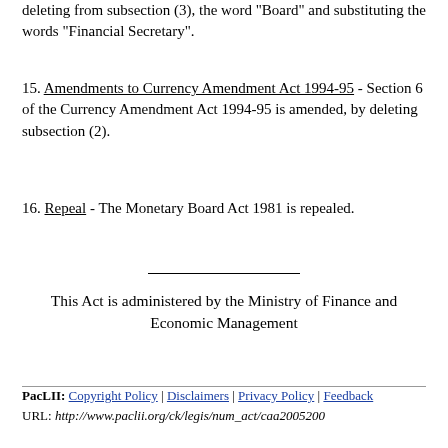deleting from subsection (3), the word "Board" and substituting the words "Financial Secretary".
15. Amendments to Currency Amendment Act 1994-95 - Section 6 of the Currency Amendment Act 1994-95 is amended, by deleting subsection (2).
16. Repeal - The Monetary Board Act 1981 is repealed.
This Act is administered by the Ministry of Finance and Economic Management
PacLII: Copyright Policy | Disclaimers | Privacy Policy | Feedback
URL: http://www.paclii.org/ck/legis/num_act/caa2005200